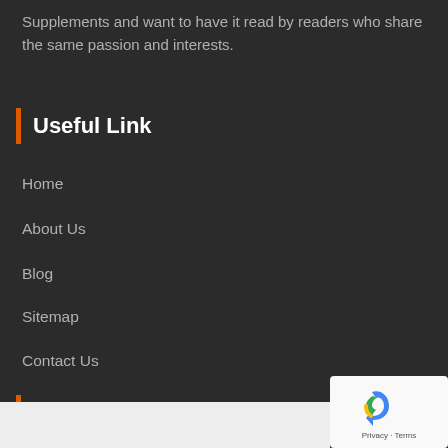Supplements and want to have it read by readers who share the same passion and interests.
Useful Link
Home
About Us
Blog
Sitemap
Contact Us
Email Alerts
Subscribe Our Email Newsletter
Name